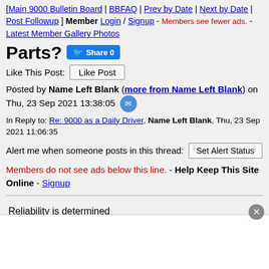[Main 9000 Bulletin Board | BBFAQ | Prev by Date | Next by Date | Post Followup ] Member Login / Signup - Members see fewer ads. - Latest Member Gallery Photos
Parts?
Like This Post: Like Post
Posted by Name Left Blank (more from Name Left Blank) on Thu, 23 Sep 2021 13:38:05
In Reply to: Re: 9000 as a Daily Driver, Name Left Blank, Thu, 23 Sep 2021 11:06:35
Alert me when someone posts in this thread: Set Alert Status
Members do not see ads below this line. - Help Keep This Site Online - Signup
Reliability is determined by the Previous owners Care and current mileage of the car. Doubly important with Aeros'.. which in My